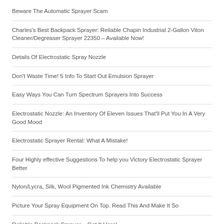Beware The Automatic Sprayer Scam
Charles's Best Backpack Sprayer: Reliable Chapin Industrial 2-Gallon Viton Cleaner/Degreaser Sprayer 22350 – Available Now!
Details Of Electrostatic Spray Nozzle
Don't Waste Time! 5 Info To Start Out Emulsion Sprayer
Easy Ways You Can Turn Spectrum Sprayers Into Success
Electrostatic Nozzle: An Inventory Of Eleven Issues That'll Put You In A Very Good Mood
Electrostatic Sprayer Rental: What A Mistake!
Four Highly effective Suggestions To help you Victory Electrostatic Sprayer Better
Nylon/Lycra, Silk, Wool Pigmented Ink Chemistry Available
Picture Your Spray Equipment On Top. Read This And Make It So
Reliable Backpack Sprayer – Get It Here!
Reliable Pro. Backpack Sprayer 4G Pro